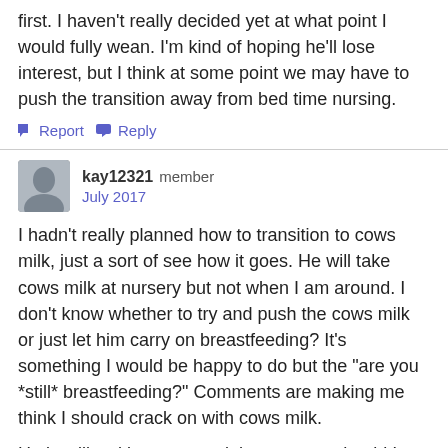first. I haven't really decided yet at what point I would fully wean. I'm kind of hoping he'll lose interest, but I think at some point we may have to push the transition away from bed time nursing.
Report  Reply
kay12321  member
July 2017
I hadn't really planned how to transition to cows milk, just a sort of see how it goes. He will take cows milk at nursery but not when I am around. I don't know whether to try and push the cows milk or just let him carry on breastfeeding? It's something I would be happy to do but the "are you *still* breastfeeding?" Comments are making me think I should crack on with cows milk.
He is still waking once a night to nurse, should I offer water instead? I'm conflicted because he doesn't get that "society"